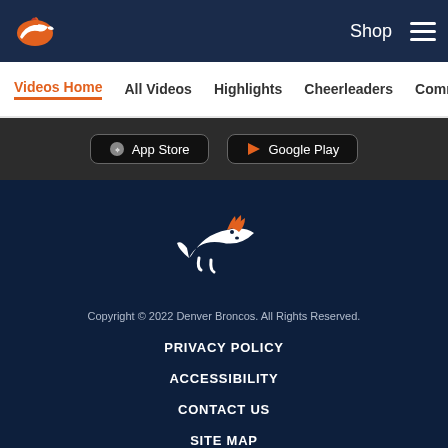Denver Broncos - Shop - Navigation menu
Videos Home | All Videos | Highlights | Cheerleaders | Community
[Figure (screenshot): App Store and Google Play download buttons]
[Figure (logo): Denver Broncos logo - horse in orange and white on navy background]
Copyright © 2022 Denver Broncos. All Rights Reserved.
PRIVACY POLICY
ACCESSIBILITY
CONTACT US
SITE MAP